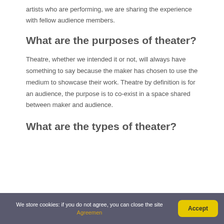artists who are performing, we are sharing the experience with fellow audience members.
What are the purposes of theater?
Theatre, whether we intended it or not, will always have something to say because the maker has chosen to use the medium to showcase their work. Theatre by definition is for an audience, the purpose is to co-exist in a space shared between maker and audience.
What are the types of theater?
We store cookies: if you do not agree, you can close the site Agreemen
Accept